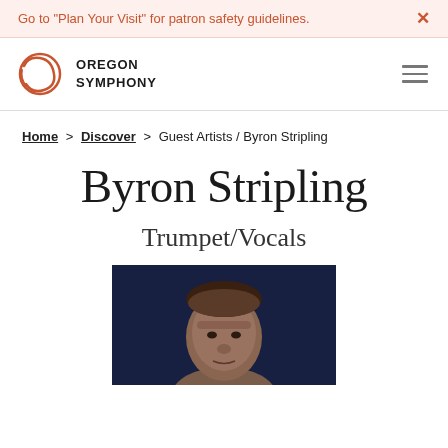Go to "Plan Your Visit" for patron safety guidelines. ×
[Figure (logo): Oregon Symphony logo — red circular brushstroke with OREGON SYMPHONY text]
Home > Discover > Guest Artists / Byron Stripling
Byron Stripling
Trumpet/Vocals
[Figure (photo): Headshot of Byron Stripling, a man against a dark navy background]